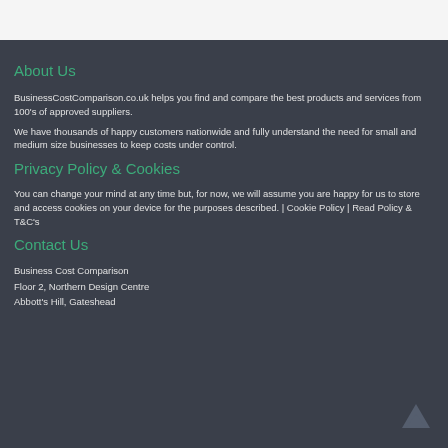About Us
BusinessCostComparison.co.uk helps you find and compare the best products and services from 100's of approved suppliers.
We have thousands of happy customers nationwide and fully understand the need for small and medium size businesses to keep costs under control.
Privacy Policy & Cookies
You can change your mind at any time but, for now, we will assume you are happy for us to store and access cookies on your device for the purposes described. | Cookie Policy | Read Policy & T&C's
Contact Us
Business Cost Comparison
Floor 2, Northern Design Centre
Abbott's Hill, Gateshead